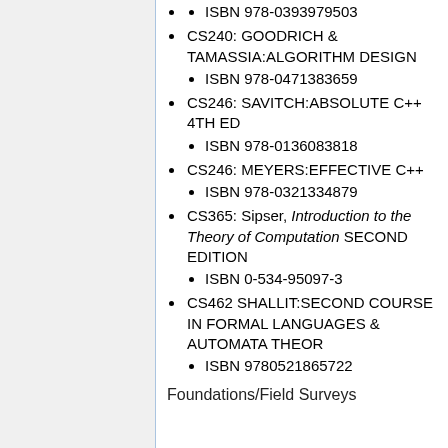ISBN 978-0393979503
CS240: GOODRICH & TAMASSIA:ALGORITHM DESIGN
ISBN 978-0471383659
CS246: SAVITCH:ABSOLUTE C++ 4TH ED
ISBN 978-0136083818
CS246: MEYERS:EFFECTIVE C++
ISBN 978-0321334879
CS365: Sipser, Introduction to the Theory of Computation SECOND EDITION
ISBN 0-534-95097-3
CS462 SHALLIT:SECOND COURSE IN FORMAL LANGUAGES & AUTOMATA THEOR
ISBN 9780521865722
Foundations/Field Surveys